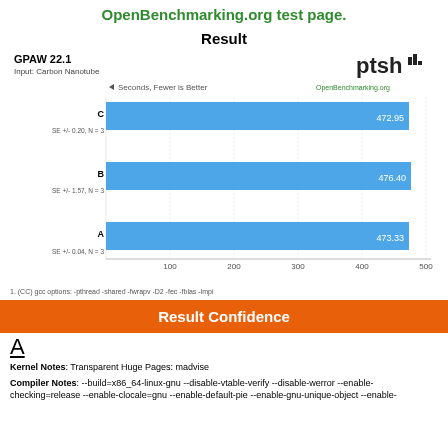OpenBenchmarking.org test page.
Result
[Figure (bar-chart): GPAW 22.1 - Input: Carbon Nanotube]
1. (CC) gcc options: -pthread -shared -fwrapv -D2 -fec -fblas -lmpi
Result Confidence
A
Kernel Notes: Transparent Huge Pages: madvise
Compiler Notes: --build=x86_64-linux-gnu --disable-vtable-verify --disable-werror --enable-checking=release --enable-clocale=gnu --enable-default-pie --enable-gnu-unique-object --enable-